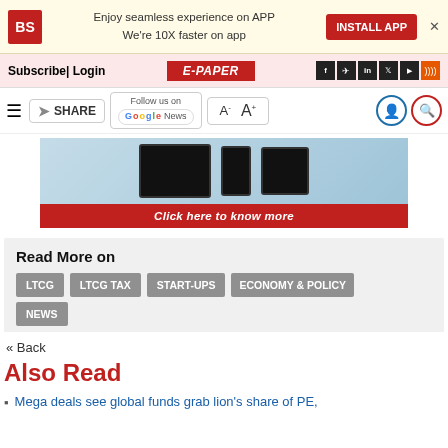BS | Enjoy seamless experience on APP | We're 10X faster on app | INSTALL APP
Subscribe | Login | E-PAPER
SHARE | Follow us on Google News | A- A+
[Figure (screenshot): Advertisement banner showing BS app on tablet and phone devices with text 'Click here to know more']
Read More on
LTCG
LTCG TAX
START-UPS
ECONOMY & POLICY
NEWS
« Back
Also Read
Mega deals see global funds grab lion's share of PE,